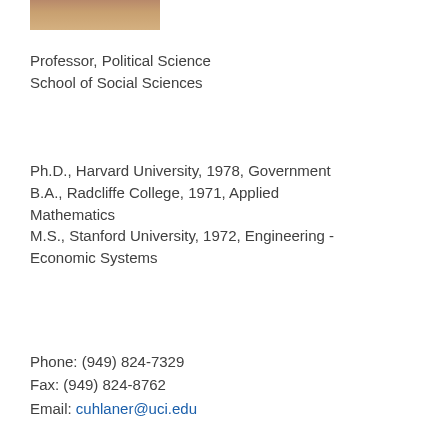[Figure (photo): Partial photo of a person, cropped at top of page]
Professor, Political Science
School of Social Sciences
Ph.D., Harvard University, 1978, Government
B.A., Radcliffe College, 1971, Applied Mathematics
M.S., Stanford University, 1972, Engineering - Economic Systems
Phone: (949) 824-7329
Fax: (949) 824-8762
Email: cuhlaner@uci.edu